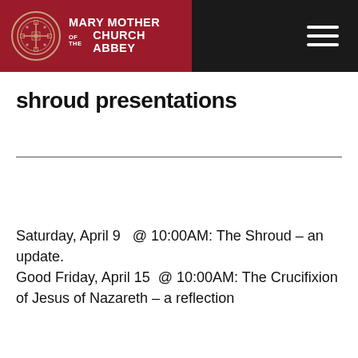[Figure (logo): Mary Mother of the Church Abbey logo with circular seal on dark red background and hamburger menu icon on dark background]
shroud presentations
Saturday, April 9   @ 10:00AM: The Shroud – an update.
Good Friday, April 15  @ 10:00AM: The Crucifixion of Jesus of Nazareth – a reflection